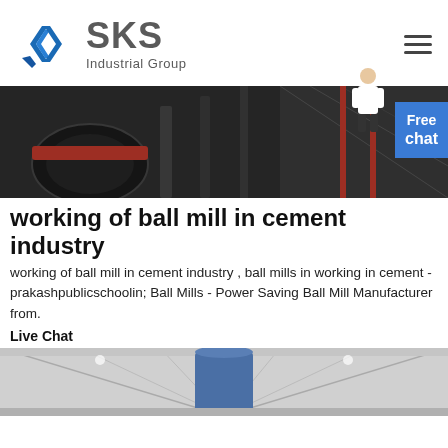[Figure (logo): SKS Industrial Group logo with blue angular chevron icon and gray text]
[Figure (photo): Industrial ball mill machinery in cement plant facility, dark industrial setting with metal structures]
working of ball mill in cement industry
working of ball mill in cement industry , ball mills in working in cement - prakashpublicschoolin; Ball Mills - Power Saving Ball Mill Manufacturer from.
Live Chat
[Figure (photo): Interior of industrial manufacturing facility with large cylindrical silo and structural roof trusses]